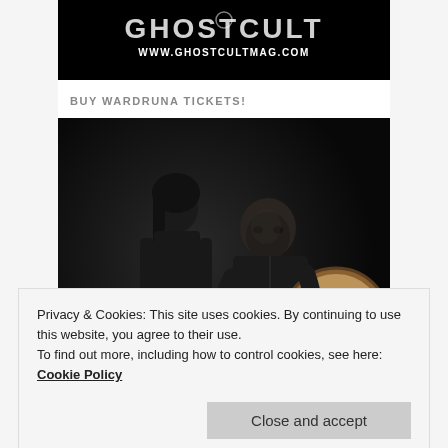[Figure (logo): Ghost Cult magazine logo banner with white distressed text on black background, showing website URL www.ghostcultmag.com]
BUY WARDRUNA TICKETS!
[Figure (photo): Dark atmospheric photo of two people dressed in black against a black background. A woman with dark hair stands on the left, a bald man on the right holds a large frame drum (bodhran). Both have a serious, brooding expression.]
Privacy & Cookies: This site uses cookies. By continuing to use this website, you agree to their use.
To find out more, including how to control cookies, see here: Cookie Policy
Close and accept
15 Oct · Brooklyn, NY · Kings Theatre    01 Nov · Oakland, CA · Paramount Theatre